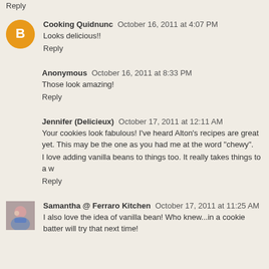Reply
Cooking Quidnunc   October 16, 2011 at 4:07 PM
Looks delicious!!
Reply
Anonymous   October 16, 2011 at 8:33 PM
Those look amazing!
Reply
Jennifer (Delicieux)   October 17, 2011 at 12:11 AM
Your cookies look fabulous! I've heard Alton's recipes are great yet. This may be the one as you had me at the word "chewy".
I love adding vanilla beans to things too. It really takes things to a w
Reply
Samantha @ Ferraro Kitchen   October 17, 2011 at 11:25 AM
I also love the idea of vanilla bean! Who knew...in a cookie batter will try that next time!